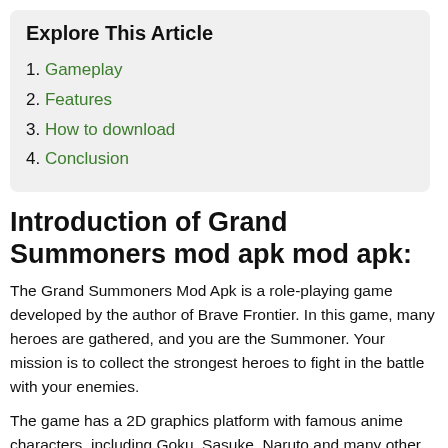Explore This Article
1. Gameplay
2. Features
3. How to download
4. Conclusion
Introduction of Grand Summoners mod apk mod apk:
The Grand Summoners Mod Apk is a role-playing game developed by the author of Brave Frontier. In this game, many heroes are gathered, and you are the Summoner. Your mission is to collect the strongest heroes to fight in the battle with your enemies.
The game has a 2D graphics platform with famous anime characters, including Goku, Sasuke, Naruto and many other surfaces. In addition, players can also recruit several unique personalities to their team.
However, in the game there are many different characters. More. What is...